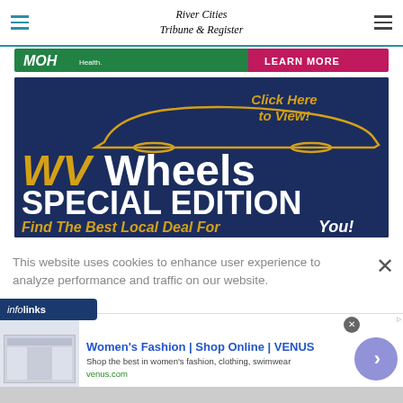River Cities Tribune & Register
[Figure (illustration): MCH Health advertisement banner with green and pink/red background, 'MCH Health.' text and 'LEARN MORE' call to action]
[Figure (illustration): WV Wheels Special Edition advertisement on dark navy background with gold car silhouette outline, 'WV Wheels SPECIAL EDITION' text, 'Click Here to View!' and 'Find The Best Local Deal For You!']
This website uses cookies to enhance user experience to analyze performance and traffic on our website.
[Figure (illustration): Infolinks advertisement bar with Women's Fashion | Shop Online | VENUS ad, showing website screenshot thumbnail, description text, venus.com URL, and circular arrow button]